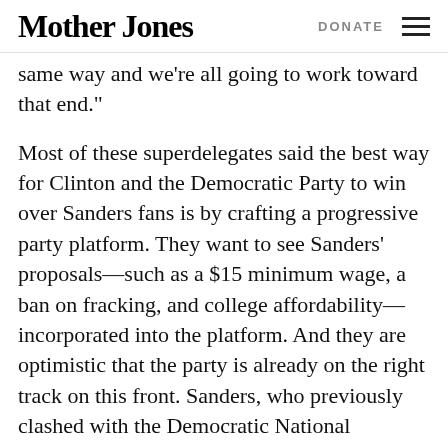Mother Jones | DONATE
same way and we’re all going to work toward that end.”
Most of these superdelegates said the best way for Clinton and the Democratic Party to win over Sanders fans is by crafting a progressive party platform. They want to see Sanders’ proposals—such as a $15 minimum wage, a ban on fracking, and college affordability—incorporated into the platform. And they are optimistic that the party is already on the right track on this front. Sanders, who previously clashed with the Democratic National Committee over appointments to the platform committee, ultimately has won five